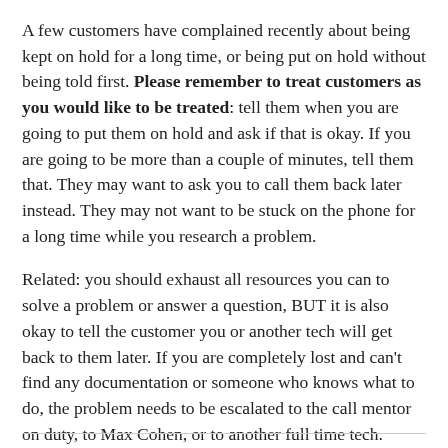A few customers have complained recently about being kept on hold for a long time, or being put on hold without being told first. Please remember to treat customers as you would like to be treated: tell them when you are going to put them on hold and ask if that is okay. If you are going to be more than a couple of minutes, tell them that. They may want to ask you to call them back later instead. They may not want to be stuck on the phone for a long time while you research a problem.
Related: you should exhaust all resources you can to solve a problem or answer a question, BUT it is also okay to tell the customer you or another tech will get back to them later. If you are completely lost and can't find any documentation or someone who knows what to do, the problem needs to be escalated to the call mentor on duty, to Max Cohen, or to another full time tech.